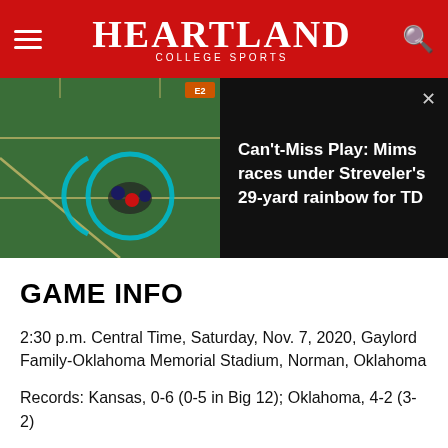HEARTLAND COLLEGE SPORTS
[Figure (screenshot): Football field aerial view showing players, with a cyan circular highlight around a play. Video thumbnail for 'Can't-Miss Play: Mims races under Streveler's 29-yard rainbow for TD']
GAME INFO
2:30 p.m. Central Time, Saturday, Nov. 7, 2020, Gaylord Family-Oklahoma Memorial Stadium, Norman, Oklahoma
Records: Kansas, 0-6 (0-5 in Big 12); Oklahoma, 4-2 (3-2)
TV: ESPN2 (Anish Shroff, Tom Luginbill, Kris Budden)
Radio: Jayhawk Radio Network; Oklahoma Learfield IMG Sports Radio Network